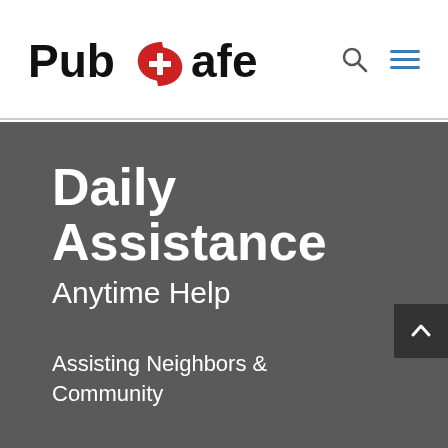PubSafe — navigation header with logo, search icon, and hamburger menu
Daily Assistance
Anytime Help
Assisting Neighbors & Community